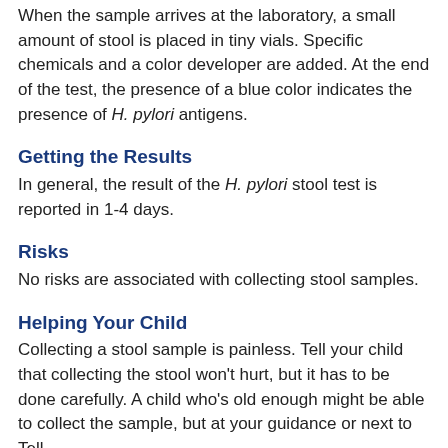When the sample arrives at the laboratory, a small amount of stool is placed in tiny vials. Specific chemicals and a color developer are added. At the end of the test, the presence of a blue color indicates the presence of H. pylori antigens.
Getting the Results
In general, the result of the H. pylori stool test is reported in 1-4 days.
Risks
No risks are associated with collecting stool samples.
Helping Your Child
Collecting a stool sample is painless. Tell your child that collecting the stool won't hurt, but it has to be done carefully. A child who's old enough might be able to collect the sample, but at your guidance or next to Tell